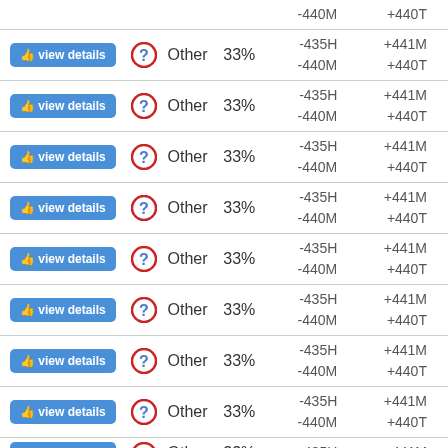| Action | Status | Type | Pct | Values1 | Values2 |
| --- | --- | --- | --- | --- | --- |
|  |  |  |  | -440M | +440T |
| view details | ? | Other | 33% | -435H
-440M | +441M
+440T |
| view details | ? | Other | 33% | -435H
-440M | +441M
+440T |
| view details | ? | Other | 33% | -435H
-440M | +441M
+440T |
| view details | ? | Other | 33% | -435H
-440M | +441M
+440T |
| view details | ? | Other | 33% | -435H
-440M | +441M
+440T |
| view details | ? | Other | 33% | -435H
-440M | +441M
+440T |
| view details | ? | Other | 33% | -435H
-440M | +441M
+440T |
| view details | ? | Other | 33% | -435H
-440M | +441M
+440T |
| view details | ? | Other | 33% | -435H | +441M |